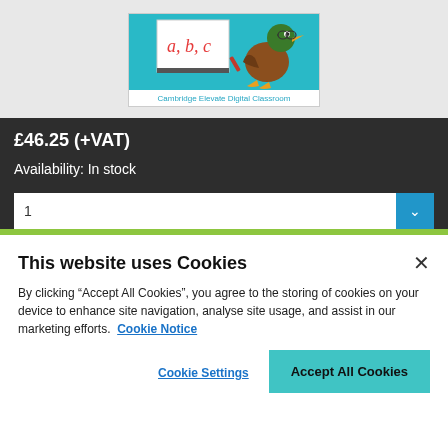[Figure (illustration): Cambridge Elevate Digital Classroom product image showing a cartoon duck writing 'a, b, c' on a whiteboard, on a teal background]
Cambridge Elevate Digital Classroom
£46.25 (+VAT)
Availability: In stock
This website uses Cookies
By clicking “Accept All Cookies”, you agree to the storing of cookies on your device to enhance site navigation, analyse site usage, and assist in our marketing efforts.  Cookie Notice
Cookie Settings
Accept All Cookies